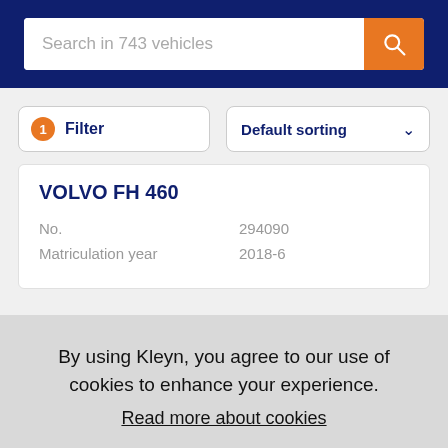Search in 743 vehicles
1 Filter | Default sorting
VOLVO FH 460
No. 294090
Matriculation year 2018-6
By using Kleyn, you agree to our use of cookies to enhance your experience. Read more about cookies
Got it!
Stock   Contact   Menu